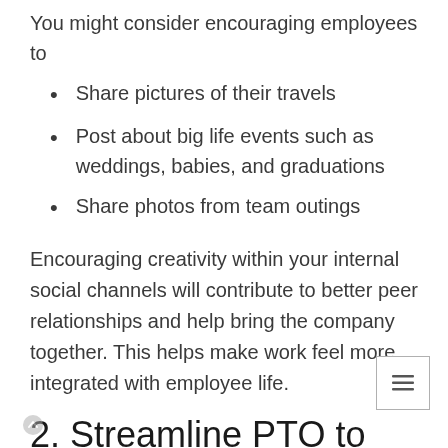You might consider encouraging employees to
Share pictures of their travels
Post about big life events such as weddings, babies, and graduations
Share photos from team outings
Encouraging creativity within your internal social channels will contribute to better peer relationships and help bring the company together. This helps make work feel more integrated with employee life.
2. Streamline PTO to